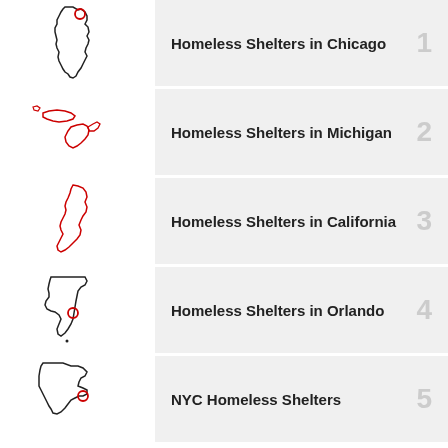Homeless Shelters in Chicago
Homeless Shelters in Michigan
Homeless Shelters in California
Homeless Shelters in Orlando
NYC Homeless Shelters